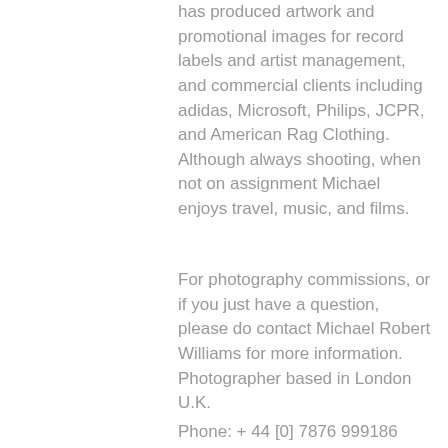has produced artwork and promotional images for record labels and artist management, and commercial clients including adidas, Microsoft, Philips, JCPR, and American Rag Clothing. Although always shooting, when not on assignment Michael enjoys travel, music, and films.
For photography commissions, or if you just have a question, please do contact Michael Robert Williams for more information. Photographer based in London U.K.
Phone: + 44 [0] 7876 999186